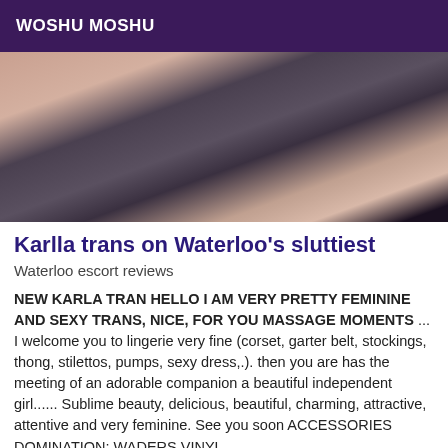WOSHU MOSHU
[Figure (photo): Close-up photo of a person wearing black stockings and high heels on a bed]
Karlla trans on Waterloo's sluttiest
Waterloo escort reviews
NEW KARLA TRAN HELLO I AM VERY PRETTY FEMININE AND SEXY TRANS, NICE, FOR YOU MASSAGE MOMENTS ... I welcome you to lingerie very fine (corset, garter belt, stockings, thong, stilettos, pumps, sexy dress,.). then you are has the meeting of an adorable companion a beautiful independent girl...... Sublime beauty, delicious, beautiful, charming, attractive, attentive and very feminine. See you soon ACCESSORIES DOMINATION: WADERS VINYL